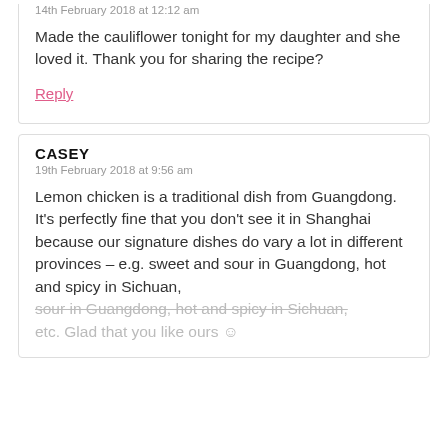14th February 2018 at 12:12 am
Made the cauliflower tonight for my daughter and she loved it. Thank you for sharing the recipe?
Reply
CASEY
19th February 2018 at 9:56 am
Lemon chicken is a traditional dish from Guangdong. It's perfectly fine that you don't see it in Shanghai because our signature dishes do vary a lot in different provinces – e.g. sweet and sour in Guangdong, hot and spicy in Sichuan, etc. Glad that you like ours 🙂